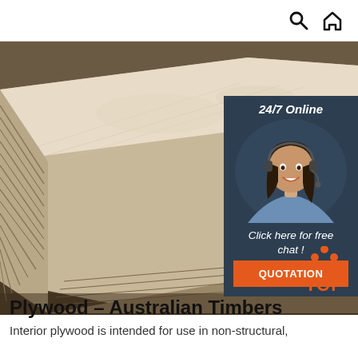Search | Home
[Figure (photo): Stack of plywood sheets photographed from a low angle, showing the layered edges and smooth top surface in a warehouse or industrial setting]
[Figure (infographic): 24/7 Online chat widget with a customer service woman wearing a headset, with 'Click here for free chat!' text and an orange QUOTATION button]
[Figure (logo): TOP badge logo with orange dots forming a triangle above the word TOP in orange text]
Plywood – Australian Timbers
Interior plywood is intended for use in non-structural,